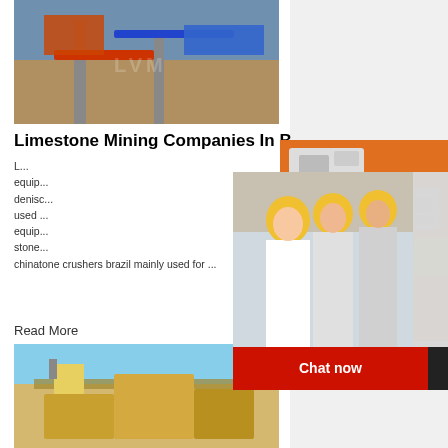[Figure (photo): Industrial mining/conveyor equipment at a construction site with red and blue machinery]
Limestone Mining Companies In B
L... equip... denisc... used ... equip... stone... chinatone crushers brazil mainly used for ...
Read More
[Figure (photo): Mining/quarry equipment and machinery at a stone quarry site]
[Figure (infographic): Right sidebar with orange background showing crusher machine images, Live Chat overlay, Enjoy 3% discount / Click to Chat bar, Enquiry section, and limingjlmofen@sina.com email]
LIVE CHAT
Click for a Free Consultation
Chat now
Chat later
Enjoy 3% discount
Click to Chat
Enquiry
limingjlmofen@sina.com